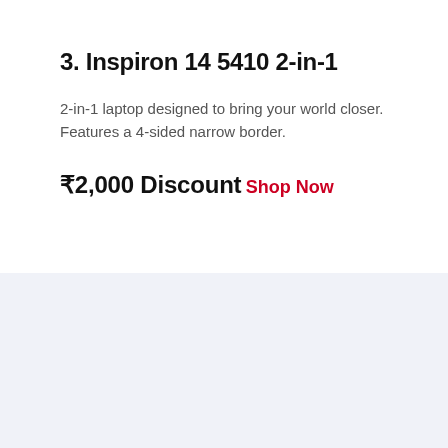3. Inspiron 14 5410 2-in-1
2-in-1 laptop designed to bring your world closer. Features a 4-sided narrow border.
₹2,000 Discount
Shop Now